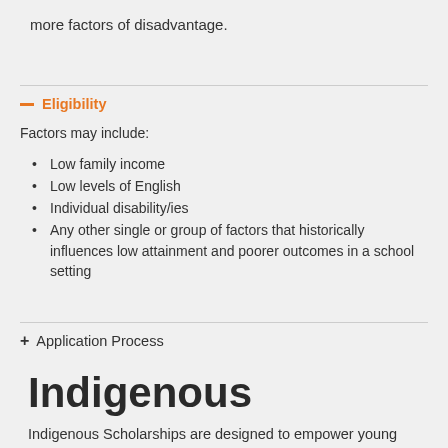more factors of disadvantage.
Eligibility
Factors may include:
Low family income
Low levels of English
Individual disability/ies
Any other single or group of factors that historically influences low attainment and poorer outcomes in a school setting
Application Process
Indigenous
Indigenous Scholarships are designed to empower young